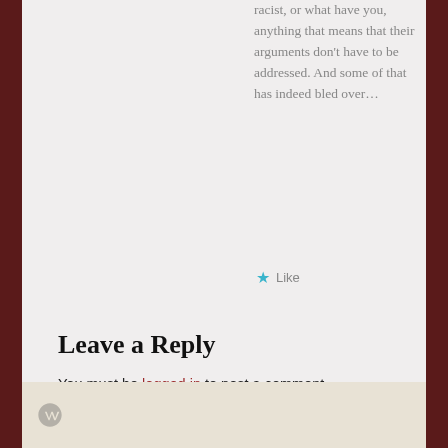racist, or what have you, anything that means that their arguments don't have to be addressed. And some of that has indeed bled over…
★ Like
Leave a Reply
You must be logged in to post a comment.